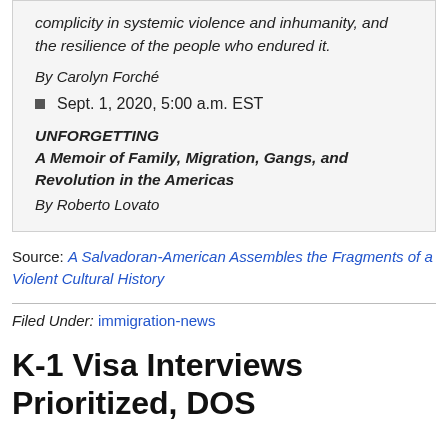complicity in systemic violence and inhumanity, and the resilience of the people who endured it.
By Carolyn Forché
Sept. 1, 2020, 5:00 a.m. EST
UNFORGETTING
A Memoir of Family, Migration, Gangs, and Revolution in the Americas
By Roberto Lovato
Source: A Salvadoran-American Assembles the Fragments of a Violent Cultural History
Filed Under: immigration-news
K-1 Visa Interviews Prioritized, DOS